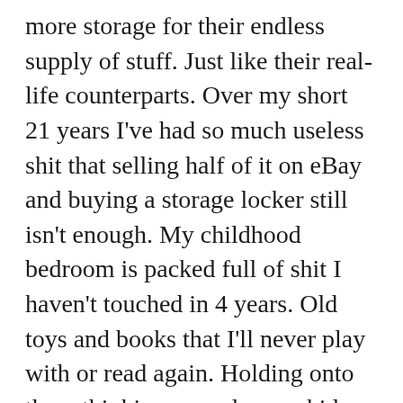more storage for their endless supply of stuff. Just like their real-life counterparts. Over my short 21 years I've had so much useless shit that selling half of it on eBay and buying a storage locker still isn't enough. My childhood bedroom is packed full of shit I haven't touched in 4 years. Old toys and books that I'll never play with or read again. Holding onto them thinking someday my kids will get the same enjoyment I did. Clothes I never wear but refuse to get rid of because it'd make me feel guilty for just tossing away money. Looter shooters capitalize on these feelings so